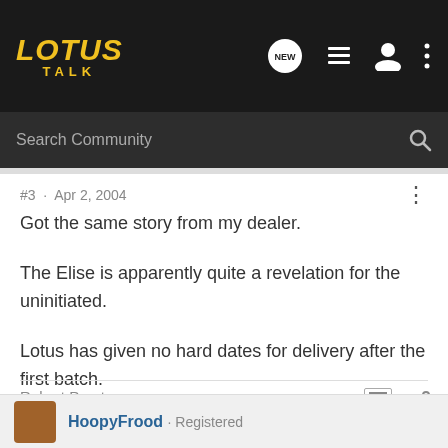LOTUS TALK
Search Community
#3 · Apr 2, 2004
Got the same story from my dealer.

The Elise is apparently quite a revelation for the uninitiated.

Lotus has given no hard dates for delivery after the first batch.
Robert Puertas
HoopyFrood · Registered